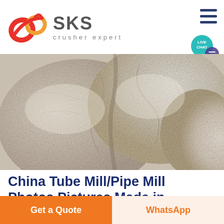[Figure (logo): SKS crusher expert logo with red stylized figure-eight emblem and gray SKS text]
[Figure (photo): Close-up photo of crushed mineral/ore pieces showing pale white/grey textured stone fragments]
China Tube Mill/Pipe Mill Photos Pictures Made in
Shanghai Muhong Mechanical and Electrical Equipment Co Ltd
Get a Quote
WhatsApp